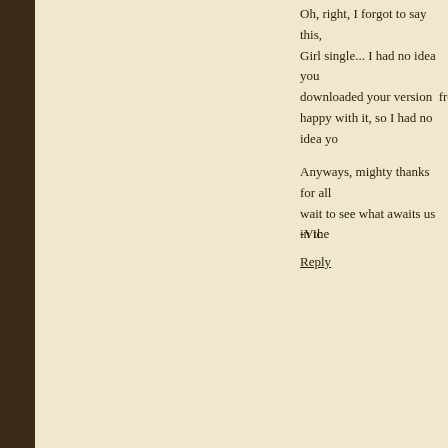Oh, right, I forgot to say this... Girl single... I had no idea you downloaded your version from happy with it, so I had no idea yo
Anyways, mighty thanks for all wait to see what awaits us in the
-Vic
Reply
Prof. Stoned   August 6, 201
Sorry, it is not (anymore). Fixed
Reply
Anonymous  August 6, 2014 at 6
Yikes!! I had no idea... Well tha resee some comments that I forg get a coffee, it's kinda long. Kept
Also, I'm curious, what kind of s dithering (and resampling, while
-Vic